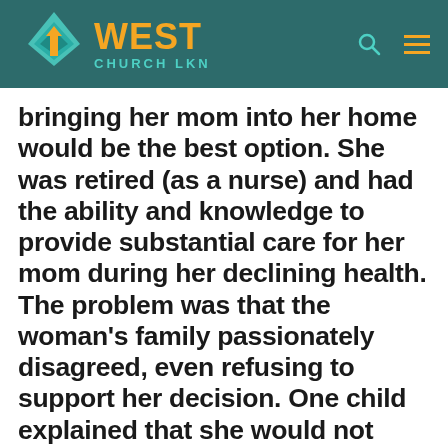WEST CHURCH LKN
bringing her mom into her home would be the best option. She was retired (as a nurse) and had the ability and knowledge to provide substantial care for her mom during her declining health. The problem was that the woman's family passionately disagreed, even refusing to support her decision. One child explained that she would not visit her mom until her grandmother